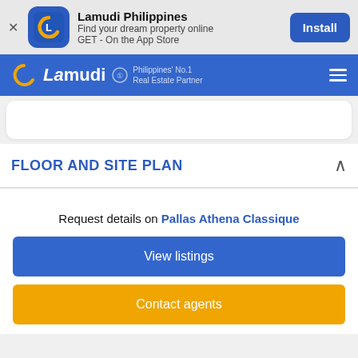[Figure (screenshot): Lamudi Philippines app install banner with icon, app name, subtitle and Install button]
Lamudi Philippines' No.1 Real Estate Partner
FLOOR AND SITE PLAN
Request details on Pallas Athena Classique
View listings
Contact agents